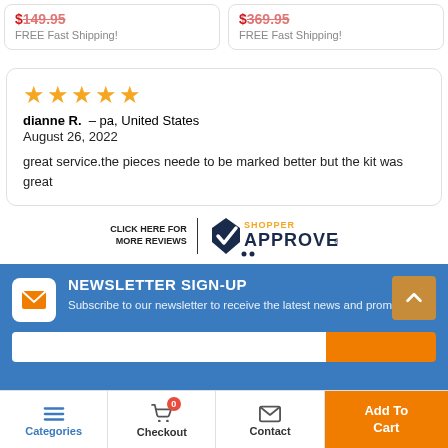FREE Fast Shipping!
FREE Fast Shipping!
★★★★★ dianne R. – pa, United States August 26, 2022. great service.the pieces neede to be marked better but the kit was great
[Figure (logo): Shopper Approved badge with text CLICK HERE FOR MORE REVIEWS]
NEWSLETTER SIGN-UP
Subscribe to our newsletter to receive the latest news and promotions!
Categories | Checkout (0) | Contact | Add To Cart